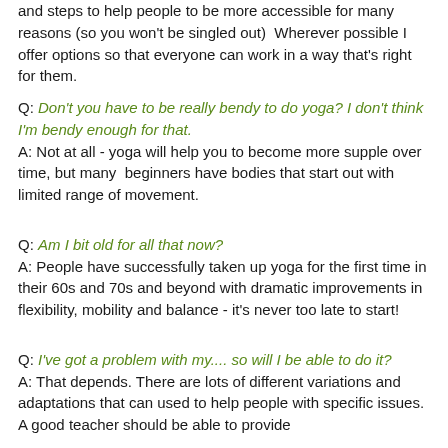and steps to help people to be more accessible for many reasons (so you won't be singled out) Wherever possible I offer options so that everyone can work in a way that's right for them.
Q: Don't you have to be really bendy to do yoga? I don't think I'm bendy enough for that.
A: Not at all - yoga will help you to become more supple over time, but many beginners have bodies that start out with limited range of movement.
Q: Am I bit old for all that now?
A: People have successfully taken up yoga for the first time in their 60s and 70s and beyond with dramatic improvements in flexibility, mobility and balance - it's never too late to start!
Q: I've got a problem with my.... so will I be able to do it?
A: That depends. There are lots of different variations and adaptations that can used to help people with specific issues. A good teacher should be able to provide